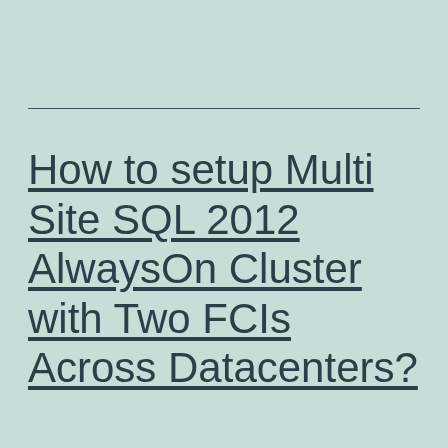How to setup Multi Site SQL 2012 AlwaysOn Cluster with Two FCIs Across Datacenters?